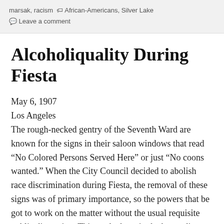marsak, racism  African-Americans, Silver Lake  Leave a comment
Alcoholiquality During Fiesta
May 6, 1907
Los Angeles
The rough-necked gentry of the Seventh Ward are known for the signs in their saloon windows that read “No Colored Persons Served Here” or just “No coons wanted.” When the City Council decided to abolish race discrimination during Fiesta, the removal of these signs was of primary importance, so the powers that be got to work on the matter without the usual requisite public discussion. This made those in the bartending profession feel persecuted, and the number of those signs